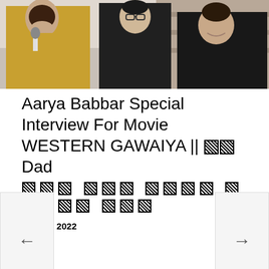[Figure (photo): Three men posing together, one in a gold jacket on the left holding a microphone, one in the middle wearing glasses, and one on the right in a dark outfit. Background appears to be an indoor setting.]
Aarya Babbar Special Interview For Movie WESTERN GAWAIYA || 🎬Dad [Urdu/Hindi text] May 11, 2022